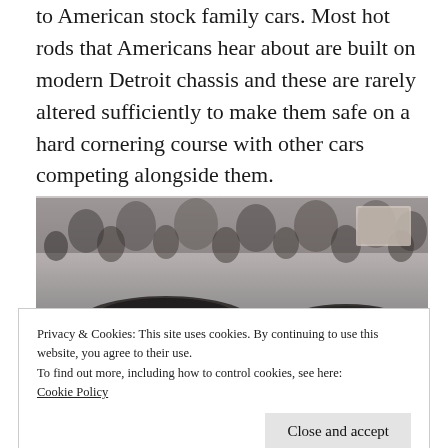to American stock family cars. Most hot rods that Americans hear about are built on modern Detroit chassis and these are rarely altered sufficiently to make them safe on a hard cornering course with other cars competing alongside them.
[Figure (photo): Black and white photograph of vintage racing cars (including car number 98) at a race event with a large crowd of spectators visible in the background.]
Privacy & Cookies: This site uses cookies. By continuing to use this website, you agree to their use.
To find out more, including how to control cookies, see here: Cookie Policy